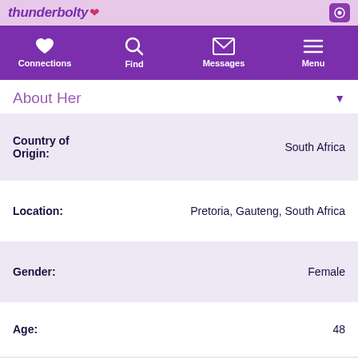thunderboltify
[Figure (screenshot): Navigation bar with icons: Connections (heart), Find (search), Messages (envelope), Menu (hamburger)]
About Her
| Field | Value |
| --- | --- |
| Country of Origin: | South Africa |
| Location: | Pretoria, Gauteng, South Africa |
| Gender: | Female |
| Age: | 48 |
| Star Sign: | Aquarius |
| Height: | 157cm (5' 1.8") |